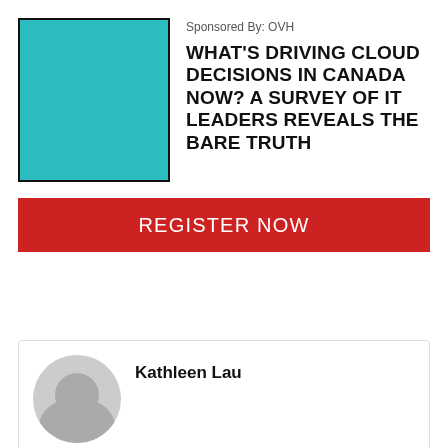Sponsored By: OVH
WHAT'S DRIVING CLOUD DECISIONS IN CANADA NOW? A SURVEY OF IT LEADERS REVEALS THE BARE TRUTH
[Figure (illustration): Teal/cyan colored rectangle with black border, serving as a cover image placeholder]
REGISTER NOW
Kathleen Lau